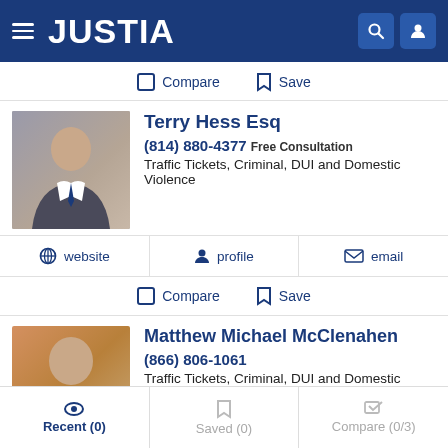JUSTIA
Compare  Save
Terry Hess Esq
(814) 880-4377  Free Consultation
Traffic Tickets, Criminal, DUI and Domestic Violence
website  profile  email
Compare  Save
Matthew Michael McClenahen
(866) 806-1061
Traffic Tickets, Criminal, DUI and Domestic Violence
Recent (0)  Saved (0)  Compare (0/3)